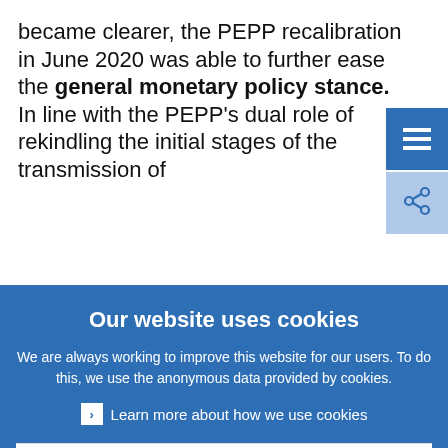became clearer, the PEPP recalibration in June 2020 was able to further ease the general monetary policy stance. In line with the PEPP's dual role of rekindling the initial stages of the transmission of
Our website uses cookies
We are always working to improve this website for our users. To do this, we use the anonymous data provided by cookies.
Learn more about how we use cookies
I understand and I accept the use of cookies
I do not accept the use of cookies